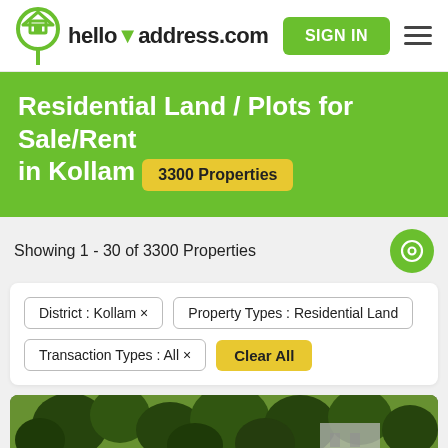helloaddress.com — SIGN IN
Residential Land / Plots for Sale/Rent in Kollam 3300 Properties
Showing 1 - 30 of 3300 Properties
District : Kollam ×
Property Types : Residential Land
Transaction Types : All ×
Clear All
[Figure (photo): Property listing photo showing green trees and a building in the background]